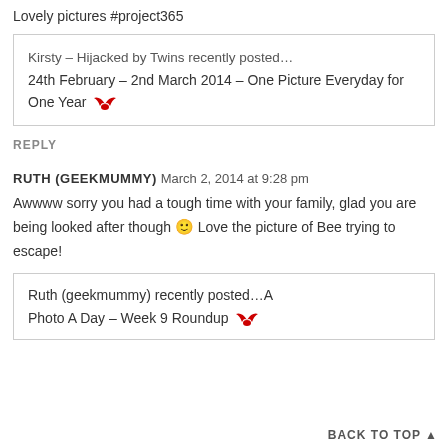Lovely pictures #project365
Kirsty – Hijacked by Twins recently posted…
24th February – 2nd March 2014 – One Picture Everyday for One Year 🔱
REPLY
RUTH (GEEKMUMMY) March 2, 2014 at 9:28 pm
Awwww sorry you had a tough time with your family, glad you are being looked after though 🙂 Love the picture of Bee trying to escape!
Ruth (geekmummy) recently posted…A Photo A Day – Week 9 Roundup
BACK TO TOP ▲